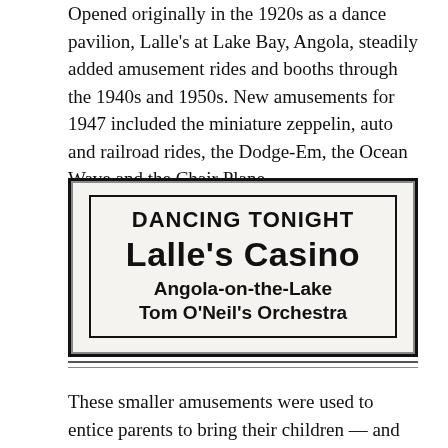Opened originally in the 1920s as a dance pavilion, Lalle's at Lake Bay, Angola, steadily added amusement rides and booths through the 1940s and 1950s. New amusements for 1947 included the miniature zeppelin, auto and railroad rides, the Dodge-Em, the Ocean Wave and the Chair Plane.
[Figure (photo): A vintage newspaper advertisement reading: 'DANCING TONIGHT / Lalle's Casino / Angola-on-the-Lake / Tom O'Neil's Orchestra' with a bold black border.]
These smaller amusements were used to entice parents to bring their children — and maybe do